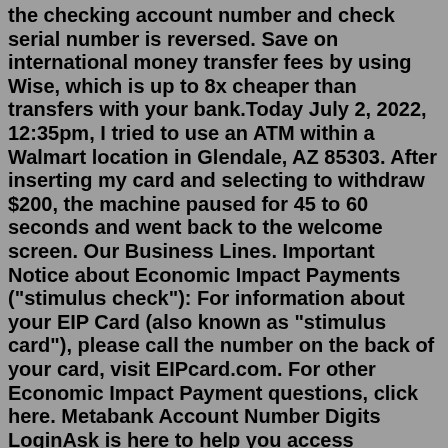the checking account number and check serial number is reversed. Save on international money transfer fees by using Wise, which is up to 8x cheaper than transfers with your bank.Today July 2, 2022, 12:35pm, I tried to use an ATM within a Walmart location in Glendale, AZ 85303. After inserting my card and selecting to withdraw $200, the machine paused for 45 to 60 seconds and went back to the welcome screen. Our Business Lines. Important Notice about Economic Impact Payments ("stimulus check"): For information about your EIP Card (also known as "stimulus card"), please call the number on the back of your card, visit EIPcard.com. For other Economic Impact Payment questions, click here. Metabank Account Number Digits LoginAsk is here to help you access Metabank Account Number Digits quickly and handle each specific case you encounter. Furthermore, you can find the “Troubleshooting Login Issues” section which can answer your unresolved problems and equip you with a lot of relevant information. H&R Block is changing banks!